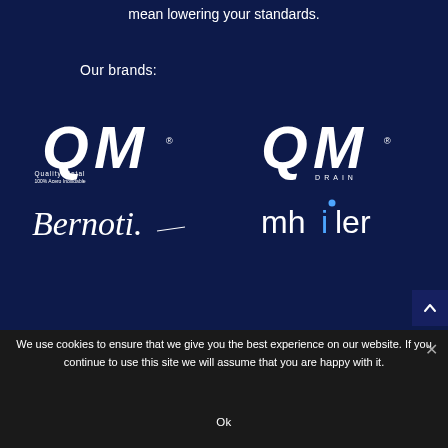mean lowering your standards.
Our brands:
[Figure (logo): QM Quality Metal logo — stylized QM letters with 'Quality Metal' and '100% Acero Inoxidable' below]
[Figure (logo): QM Drain logo — stylized QM letters with 'DRAIN' below]
[Figure (logo): Bernoti script logo in white italic handwriting]
[Figure (logo): mhiler logo in white lowercase sans-serif with blue accent on the letter i]
We use cookies to ensure that we give you the best experience on our website. If you continue to use this site we will assume that you are happy with it.
Ok